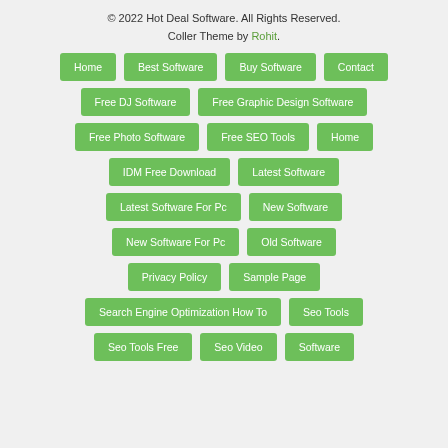© 2022 Hot Deal Software. All Rights Reserved. Coller Theme by Rohit.
Home
Best Software
Buy Software
Contact
Free DJ Software
Free Graphic Design Software
Free Photo Software
Free SEO Tools
Home
IDM Free Download
Latest Software
Latest Software For Pc
New Software
New Software For Pc
Old Software
Privacy Policy
Sample Page
Search Engine Optimization How To
Seo Tools
Seo Tools Free
Seo Video
Software